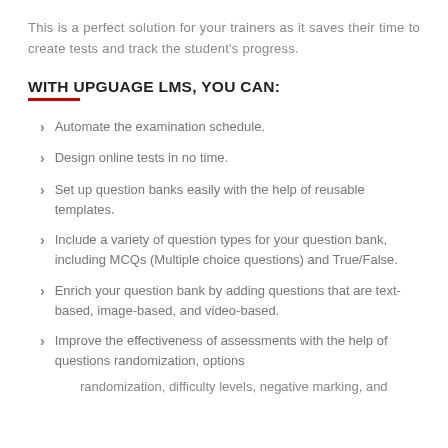This is a perfect solution for your trainers as it saves their time to create tests and track the student's progress.
WITH UPGUAGE LMS, YOU CAN:
Automate the examination schedule.
Design online tests in no time.
Set up question banks easily with the help of reusable templates.
Include a variety of question types for your question bank, including MCQs (Multiple choice questions) and True/False.
Enrich your question bank by adding questions that are text-based, image-based, and video-based.
Improve the effectiveness of assessments with the help of questions randomization, options
randomization, difficulty levels, negative marking, and